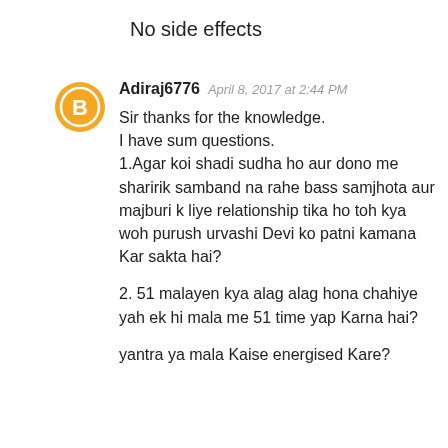No side effects
Adiraj6776  April 8, 2017 at 2:44 PM
Sir thanks for the knowledge. I have sum questions. 1.Agar koi shadi sudha ho aur dono me sharirik samband na rahe bass samjhota aur majburi k liye relationship tika ho toh kya woh purush urvashi Devi ko patni kamana Kar sakta hai?

2. 51 malayen kya alag alag hona chahiye yah ek hi mala me 51 time yap Karna hai?

yantra ya mala Kaise energised Kare?